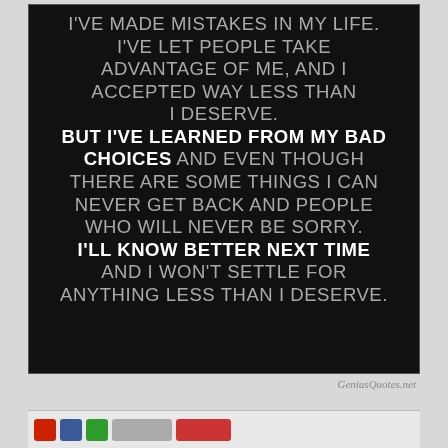[Figure (illustration): Black background motivational quote image with text in uppercase white/gray letters: I'VE MADE MISTAKES IN MY LIFE. I'VE LET PEOPLE TAKE ADVANTAGE OF ME, AND I ACCEPTED WAY LESS THAN I DESERVE. BUT I'VE LEARNED FROM MY BAD CHOICES AND EVEN THOUGH THERE ARE SOME THINGS I CAN NEVER GET BACK AND PEOPLE WHO WILL NEVER BE SORRY. I'LL KNOW BETTER NEXT TIME AND I WON'T SETTLE FOR ANYTHING LESS THAN I DESERVE.]
GeniusQuotes.net